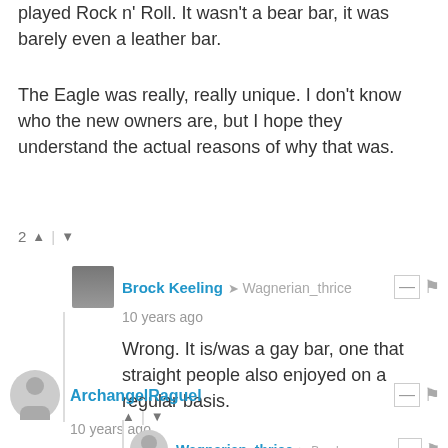played Rock n' Roll. It wasn't a bear bar, it was barely even a leather bar.
The Eagle was really, really unique. I don't know who the new owners are, but I hope they understand the actual reasons of why that was.
2 ↑ | ↓
Brock Keeling → Wagnerian_thrice
10 years ago
Wrong. It is/was a gay bar, one that straight people also enjoyed on a regular basis.
↑ | ↓
Wagnerian_thrice → Brock ...
10 years ago edited
I'm sorry, how am I wrong? I wasn't implying that it wasn't a gay bar.
↑ | ↓
ArchangelRaguel
10 years ago